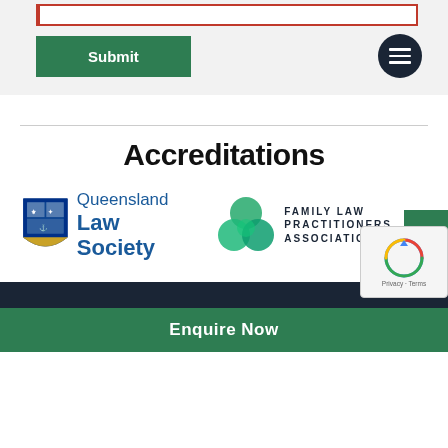[Figure (screenshot): Form input bar with red left border, partially visible at top]
[Figure (screenshot): Green Submit button]
[Figure (screenshot): Dark circular hamburger menu icon]
Accreditations
[Figure (logo): Queensland Law Society logo with shield emblem and blue text]
[Figure (logo): Family Law Practitioners Association logo with green trefoil circle]
[Figure (screenshot): Green scroll-to-top button with up arrow]
[Figure (screenshot): reCAPTCHA widget with Privacy and Terms text]
Enquire Now